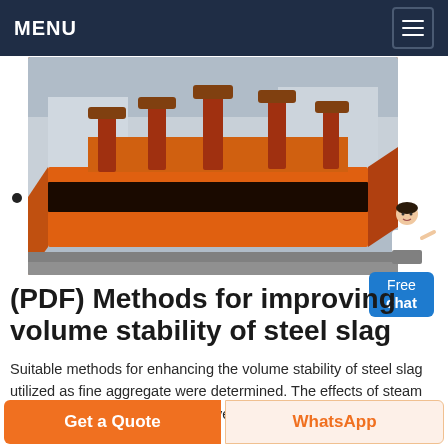MENU
[Figure (photo): Large orange industrial flotation machine or similar heavy mining/processing equipment photographed outdoors in a factory yard. The machine is bright orange with multiple mechanical components on top.]
(PDF) Methods for improving volume stability of steel slag
Suitable methods for enhancing the volume stability of steel slag utilized as fine aggregate were determined. The effects of steam treatment at 100 °C and autoclave treatment under 2.0 MPa on the